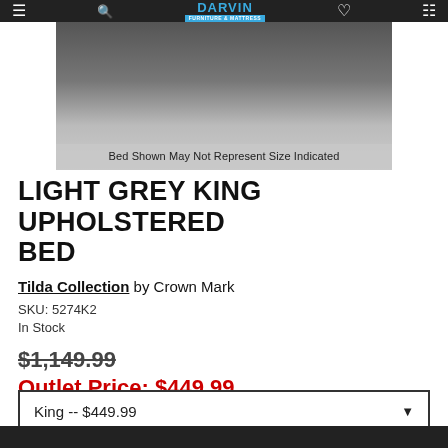Darvin Furniture & Mattress
[Figure (photo): Product photo of a light grey king upholstered bed on a dark floor, partially visible. Below the photo image area is a light grey bar with text: Bed Shown May Not Represent Size Indicated]
Bed Shown May Not Represent Size Indicated
LIGHT GREY KING UPHOLSTERED BED
Tilda Collection by Crown Mark
SKU: 5274K2
In Stock
$1,149.99
Outlet Price: $449.99
BE THE FIRST TO WRITE A REVIEW
King -- $449.99